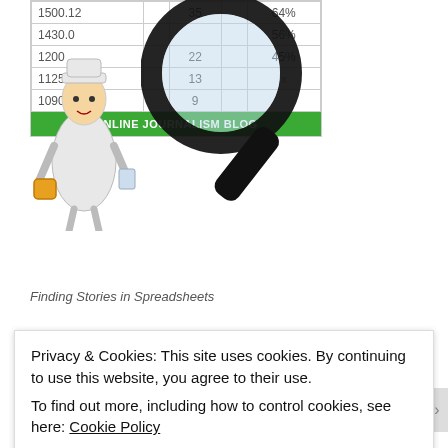[Figure (table-as-image): A spreadsheet/table infographic showing columns of numerical data (values like 1500.12, 1430.0, 1200, 1125, 1090.70 and counts 35, 22, 13, 9 and percentages 64%, 56%, 45%, %) overlaid with a large magnifying glass graphic and a cartoon of a reporter/journalist. Green footer reads ONLINE JOURNALISM BLOG.]
Finding Stories in Spreadsheets
THAT BOOK ON DATA JOURNALISM
Privacy & Cookies: This site uses cookies. By continuing to use this website, you agree to their use.
To find out more, including how to control cookies, see here: Cookie Policy